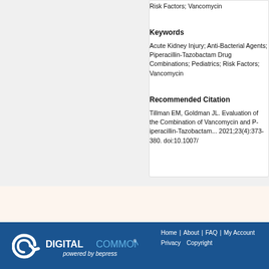Risk Factors; Vancomycin
Keywords
Acute Kidney Injury; Anti-Bacterial Agents; Piperacillin-Tazobactam Drug Combinations; Pediatrics; Risk Factors; Vancomycin
Recommended Citation
Tillman EM, Goldman JL. Evaluating the Combination of Vancomycin and Piperacillin-Tazobactam... 2021;23(4):373-380. doi:10.1007/...
[Figure (logo): Digital Commons powered by bepress logo]
Home | About | FAQ | My Account | Privacy | Copyright